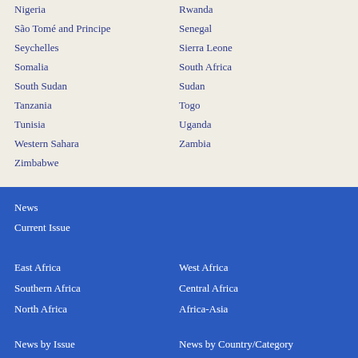Nigeria
Rwanda
São Tomé and Principe
Senegal
Seychelles
Sierra Leone
Somalia
South Africa
South Sudan
Sudan
Tanzania
Togo
Tunisia
Uganda
Western Sahara
Zambia
Zimbabwe
News
Current Issue
East Africa
West Africa
Southern Africa
Central Africa
North Africa
Africa-Asia
News by Issue
News by Country/Category
Blog
Events